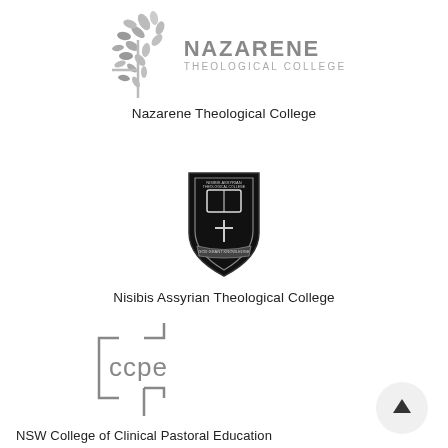[Figure (logo): Nazarene Theological College logo with leaf/sprout graphic and text 'NAZARENE THEOLOGICAL COLLEGE']
Nazarene Theological College
[Figure (logo): Nisibis Assyrian Theological College shield/crest logo in black and white]
Nisibis Assyrian Theological College
[Figure (logo): CCPE logo - angular bracket design with the letters ccpe]
NSW College of Clinical Pastoral Education